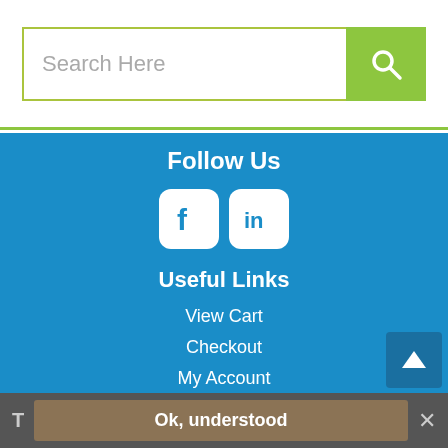[Figure (screenshot): Search bar with text input placeholder 'Search Here' and green search button with magnifying glass icon]
Follow Us
[Figure (infographic): Facebook and LinkedIn social media icons in white rounded squares on blue background]
Useful Links
View Cart
Checkout
My Account
Your Orders
Contact Us
Ink & Toner Finder
Quick Order
Login
Search Tools
Ok, understood